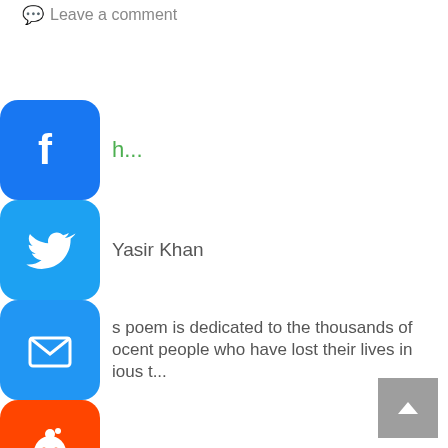Leave a comment
[Figure (screenshot): Social media share buttons (Facebook, Twitter, Email, Reddit, LinkedIn, WhatsApp) with associated post text including author Yasir Khan and poem dedication excerpt]
h...
Yasir Khan
s poem is dedicated to the thousands of ocent people who have lost their lives in ious t...
Literatrue
Ash, Death
Leave a comment